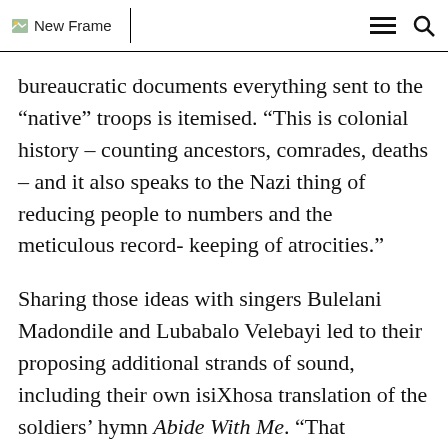New Frame
bureaucratic documents everything sent to the “native” troops is itemised. “This is colonial history – counting ancestors, comrades, deaths – and it also speaks to the Nazi thing of reducing people to numbers and the meticulous record-keeping of atrocities.”
Sharing those ideas with singers Bulelani Madondile and Lubabalo Velebayi led to their proposing additional strands of sound, including their own isiXhosa translation of the soldiers’ hymn Abide With Me. “That collaboration took the whole work to another,